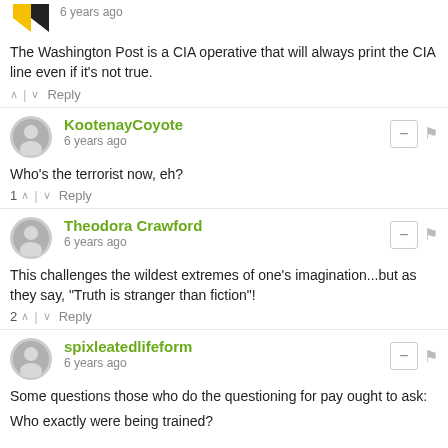6 years ago
The Washington Post is a CIA operative that will always print the CIA line even if it's not true.
^ | v  Reply
KootenayCoyote
6 years ago
Who's the terrorist now, eh?
1 ^ | v  Reply
Theodora Crawford
6 years ago
This challenges the wildest extremes of one's imagination...but as they say, "Truth is stranger than fiction"!
2 ^ | v  Reply
spixleatedlifeform
6 years ago
Some questions those who do the questioning for pay ought to ask:
Who exactly were being trained?